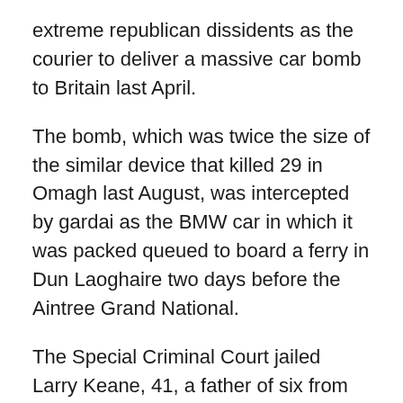extreme republican dissidents as the courier to deliver a massive car bomb to Britain last April.
The bomb, which was twice the size of the similar device that killed 29 in Omagh last August, was intercepted by gardai as the BMW car in which it was packed queued to board a ferry in Dun Laoghaire two days before the Aintree Grand National.
The Special Criminal Court jailed Larry Keane, 41, a father of six from Athy, for 15 years on a variety of explosives charges.
He had pleaded guilty and admitted he had been paid an advance £300 of a £2,000 fee to transport the 980-pound bomb to England and then hand it